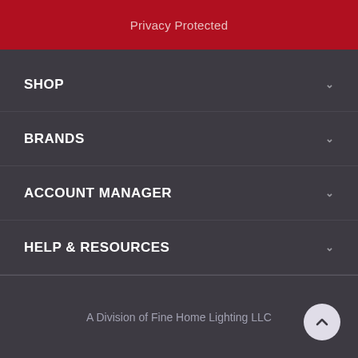Privacy Protected
SHOP
BRANDS
ACCOUNT MANAGER
HELP & RESOURCES
POPULAR CATEGORIES
A Division of Fine Home Lighting LLC